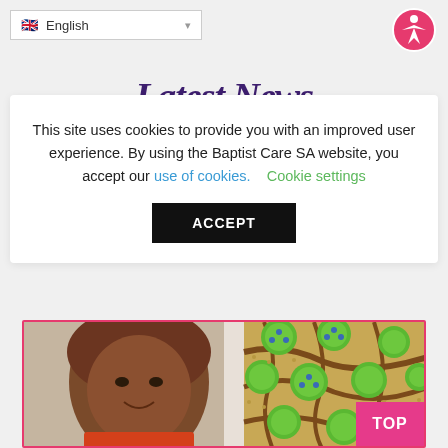English (language selector)
Latest News
This site uses cookies to provide you with an improved user experience. By using the Baptist Care SA website, you accept our use of cookies.  Cookie settings
ACCEPT
[Figure (photo): Photo of an Indigenous Australian woman smiling, alongside an Aboriginal dot painting featuring green circular shapes with blue dots on a brown/sandy background with organic lines.]